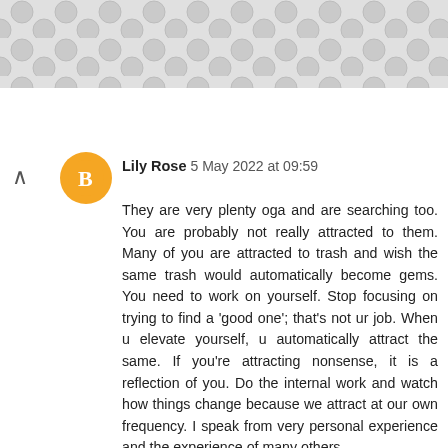[Figure (other): Decorative gray hexagonal/circular pattern background at top of page]
Lily Rose 5 May 2022 at 09:59
They are very plenty oga and are searching too. You are probably not really attracted to them. Many of you are attracted to trash and wish the same trash would automatically become gems. You need to work on yourself. Stop focusing on trying to find a 'good one'; that's not ur job. When u elevate yourself, u automatically attract the same. If you're attracting nonsense, it is a reflection of you. Do the internal work and watch how things change because we attract at our own frequency. I speak from very personal experience and the experience of many others.
[Figure (screenshot): Ad banner showing BitLife Life Simulator app advertisement with game screenshot and BitLife logo icon]
BitLife - Life Simulator
INSTALL!